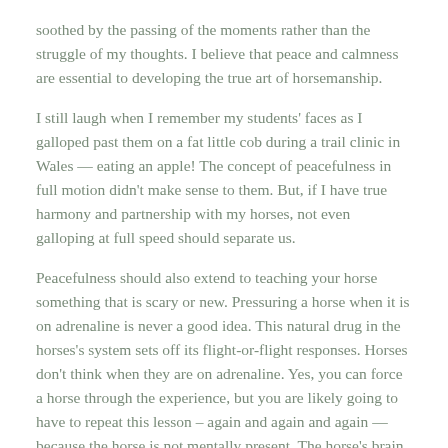soothed by the passing of the moments rather than the struggle of my thoughts. I believe that peace and calmness are essential to developing the true art of horsemanship.
I still laugh when I remember my students' faces as I galloped past them on a fat little cob during a trail clinic in Wales — eating an apple! The concept of peacefulness in full motion didn't make sense to them. But, if I have true harmony and partnership with my horses, not even galloping at full speed should separate us.
Peacefulness should also extend to teaching your horse something that is scary or new. Pressuring a horse when it is on adrenaline is never a good idea. This natural drug in the horses's system sets off its flight-or-flight responses. Horses don't think when they are on adrenaline. Yes, you can force a horse through the experience, but you are likely going to have to repeat this lesson – again and again and again — because the horse is not mentally present. The horse's brain is shut off, and it is operating strictly on instinct. If you use calmness, clear communication with